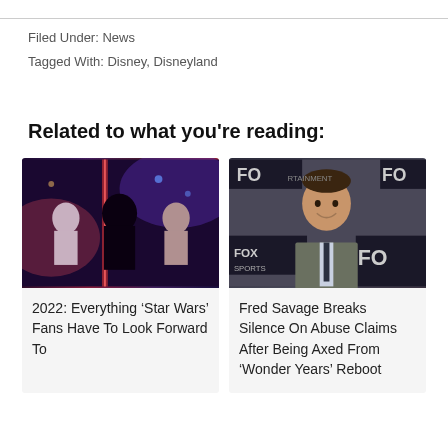Filed Under: News
Tagged With: Disney, Disneyland
Related to what you're reading:
[Figure (photo): Darth Vader and Stormtroopers in costume at a Star Wars event with dramatic purple and red lighting]
2022: Everything ‘Star Wars’ Fans Have To Look Forward To
[Figure (photo): Fred Savage smiling in a suit and tie at a Fox entertainment event with Fox Sports logos visible in background]
Fred Savage Breaks Silence On Abuse Claims After Being Axed From ‘Wonder Years’ Reboot